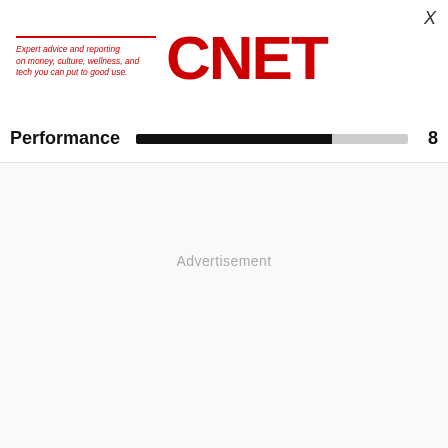[Figure (logo): CNET logo with red horizontal rule and italic tagline 'Expert advice and reporting on money, culture, wellness, and tech you can put to good use.' alongside large red CNET wordmark]
X
Performance
Advertisement